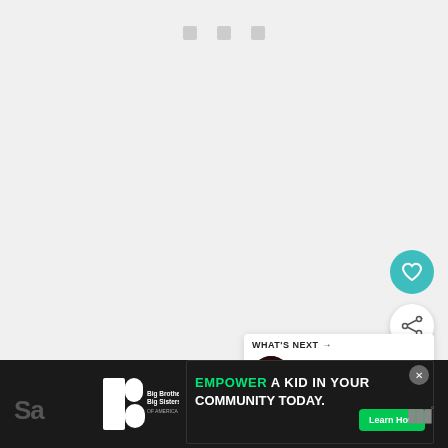[Figure (screenshot): Web/app interface screenshot showing a media player page. Light gray background with small icon row near top center. Teal heart/favorite button and white share button on right side. 'What's Next' panel showing 'Free NYE Extravaganz...' with thumbnail. Bottom black bar with Big Brothers Big Sisters ad banner reading 'EMPOWER A KID IN YOUR COMMUNITY TODAY.' with Learn How button.]
WHAT'S NEXT →
Free NYE Extravaganz...
EMPOWER A KID IN YOUR COMMUNITY TODAY.
Learn How